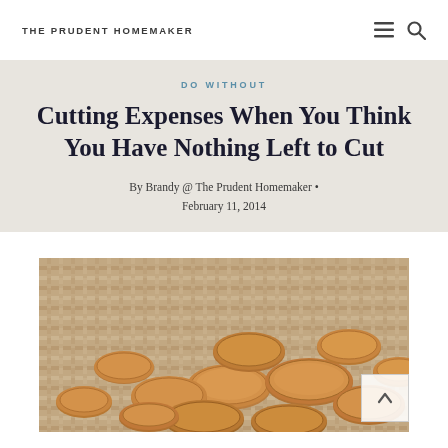THE PRUDENT HOMEMAKER
DO WITHOUT
Cutting Expenses When You Think You Have Nothing Left to Cut
By Brandy @ The Prudent Homemaker • February 11, 2014
[Figure (photo): A pile of copper pennies/coins scattered on a woven burlap or fabric background]